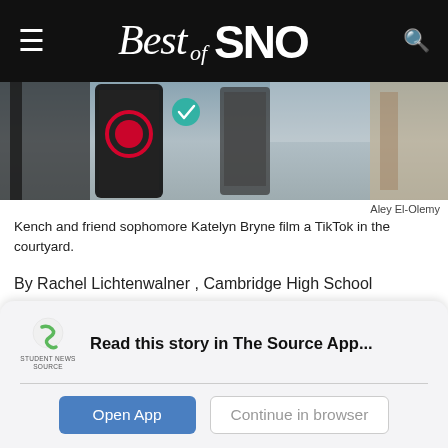Best of SNO
[Figure (photo): Close-up photo of a smartphone being used to film a TikTok video, with blurred background showing books and other items.]
Aley El-Olemy
Kench and friend sophomore Katelyn Bryne film a TikTok in the courtyard.
By Rachel Lichtenwalner , Cambridge High School
October 25, 2019
Read this story in The Source App...
Open App   Continue in browser